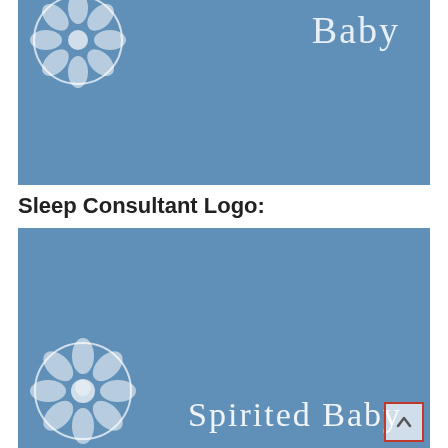[Figure (logo): Blue rectangular logo area showing partial 'Spirited Baby' cursive text in white at the top right, with partial circular flower logo at top left, on a steel-blue background.]
Sleep Consultant Logo:
[Figure (logo): Blue rectangular logo area showing 'Spirited Baby' cursive text in white at the bottom right, with circular flower/baby logo at bottom left, on a steel-blue background.]